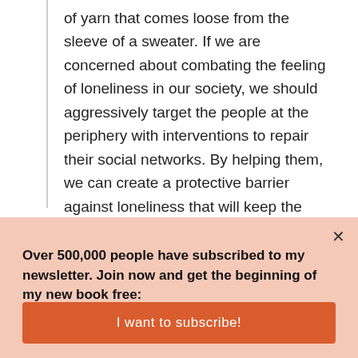of yarn that comes loose from the sleeve of a sweater. If we are concerned about combating the feeling of loneliness in our society, we should aggressively target the people at the periphery with interventions to repair their social networks. By helping them, we can create a protective barrier against loneliness that will keep the whole network from unraveling.
Over 500,000 people have subscribed to my newsletter. Join now and get the beginning of my new book free:
I want to subscribe!